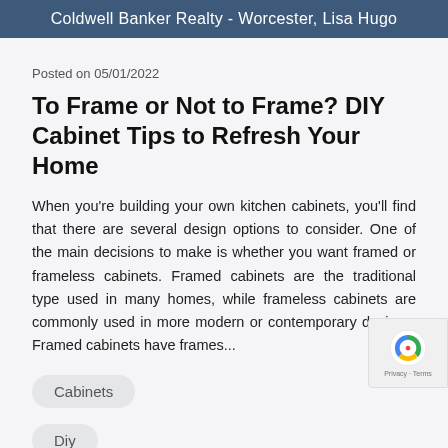Coldwell Banker Realty - Worcester, Lisa Hugo
Posted on 05/01/2022
To Frame or Not to Frame? DIY Cabinet Tips to Refresh Your Home
When you're building your own kitchen cabinets, you'll find that there are several design options to consider. One of the main decisions to make is whether you want framed or frameless cabinets. Framed cabinets are the traditional type used in many homes, while frameless cabinets are commonly used in more modern or contemporary designs. Framed cabinets have frames...
Cabinets
Diy
+ 12 more